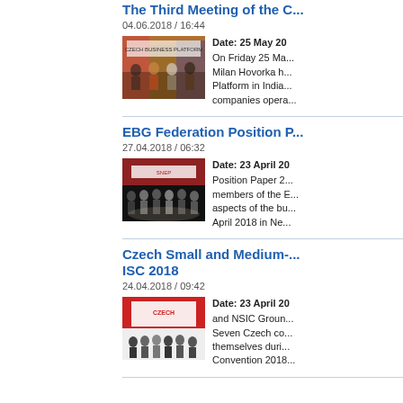The Third Meeting of the C...
04.06.2018 / 16:44
[Figure (photo): Group of people at a colorful event]
Date: 25 May 20... On Friday 25 Ma... Milan Hovorka h... Platform in India... companies opera...
EBG Federation Position P...
27.04.2018 / 06:32
[Figure (photo): Group of people on a stage at a conference]
Date: 23 April 20... Position Paper 2... members of the E... aspects of the bu... April 2018 in Ne...
Czech Small and Medium-... ISC 2018
24.04.2018 / 09:42
[Figure (photo): Group of people at a trade show booth]
Date: 23 April 20... and NSIC Groun... Seven Czech co... themselves duri... Convention 2018...